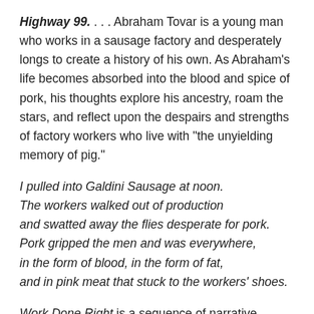Highway 99. . . . Abraham Tovar is a young man who works in a sausage factory and desperately longs to create a history of his own. As Abraham's life becomes absorbed into the blood and spice of pork, his thoughts explore his ancestry, roam the stars, and reflect upon the despairs and strengths of factory workers who live with "the unyielding memory of pig."
I pulled into Galdini Sausage at noon.
The workers walked out of production
and swatted away the flies desperate for pork.
Pork gripped the men and was everywhere,
in the form of blood, in the form of fat,
and in pink meat that stuck to the workers' shoes.
Work Done Right is a sequence of narrative poems, told with a lyricist's tenderness and an eye for detail, that address the human condition in unexpected ways. David Dominguez explores Abraham's struggle to maintain